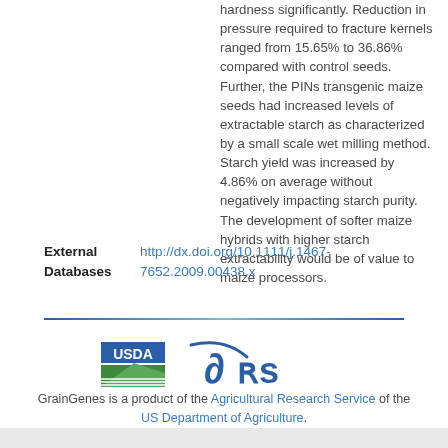hardness significantly. Reduction in pressure required to fracture kernels ranged from 15.65% to 36.86% compared with control seeds. Further, the PINs transgenic maize seeds had increased levels of extractable starch as characterized by a small scale wet milling method. Starch yield was increased by 4.86% on average without negatively impacting starch purity. The development of softer maize hybrids with higher starch extractability would be of value to maize processors.
External Databases http://dx.doi.org/10.1111/j.1467-7652.2009.00438.x
[Figure (logo): USDA Agricultural Research Service logo]
GrainGenes is a product of the Agricultural Research Service of the US Department of Agriculture.